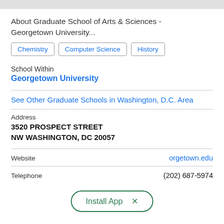About Graduate School of Arts & Sciences - Georgetown University...
Chemistry
Computer Science
History
School Within
Georgetown University
See Other Graduate Schools in Washington, D.C. Area
Address
3520 PROSPECT STREET
NW WASHINGTON, DC 20057
Website
orgetown.edu
Telephone
(202) 687-5974
[Figure (screenshot): Install App banner overlay at bottom center of page]